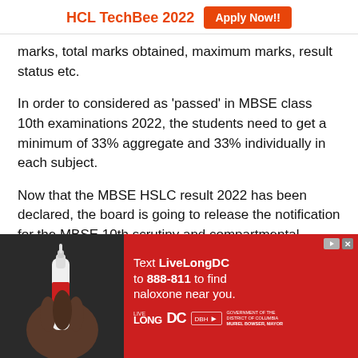HCL TechBee 2022  Apply Now!!
marks, total marks obtained, maximum marks, result status etc.
In order to considered as ‘passed’ in MBSE class 10th examinations 2022, the students need to get a minimum of 33% aggregate and 33% individually in each subject.
Now that the MBSE HSLC result 2022 has been declared, the board is going to release the notification for the MBSE 10th scrutiny and compartmental exams. The board will also issue the class 10th scorecards to the students so that they can further take admission
[Figure (infographic): Red advertisement banner: Text LiveLongDC to 888-811 to find naloxone near you. With LiveLong DC, DBH and DC Government logos. Photo of hand holding nasal spray device on the left side.]